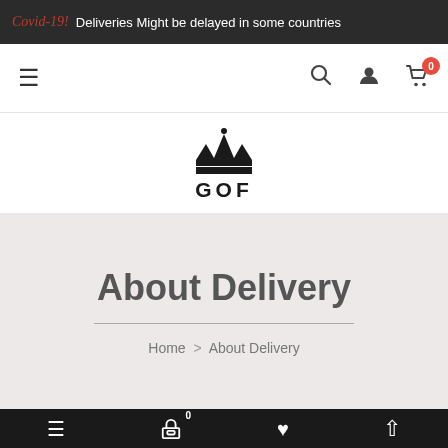Covid-19! Deliveries Might be delayed in some countries
[Figure (screenshot): Navigation bar with hamburger menu, search icon, user icon, and cart icon with badge showing 0]
[Figure (logo): GOF crown logo with text GOF below]
About Delivery
Home > About Delivery
Mobile bottom navigation bar with menu, cart (0), heart, and up-arrow icons